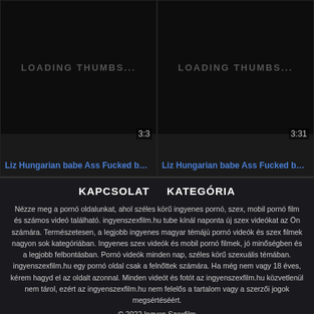[Figure (screenshot): Two video thumbnails side by side showing 'LOADING THUMBS...' placeholder text on dark background. Left thumbnail has duration 3:3, right has duration 3:31.]
Liz Hungarian babe Ass Fucked by Ni...
Liz Hungarian babe Ass Fucked by Ni...
KAPCSOLAT   KATEGÓRIA
Nézze meg a pornó oldalunkat, ahol széles körű ingyenes pornó, szex, mobil pornó film és számos videó található. ingyenszexfilm.hu tube kínál naponta új szex videókat az Ön számára. Természetesen, a legjobb ingyenes magyar témájú pornó videók és szex filmek nagyon sok kategóriában. Ingyenes szex videók és mobil pornó filmek, jó minőségben és a legjobb felbontásban. Pornó videók minden nap, széles körű szexuális témában. ingyenszexfilm.hu egy pornó oldal csak a felnőttek számára. Ha még nem vagy 18 éves, kérem hagyd el az oldalt azonnal. Minden videót és fotót az ingyenszexfilm.hu közvetlenül nem tárol, ezért az ingyenszexfilm.hu nem felelős a tartalom vagy a szerzői jogok megsértéséért.
© 2022 Ingyen Szexfilm